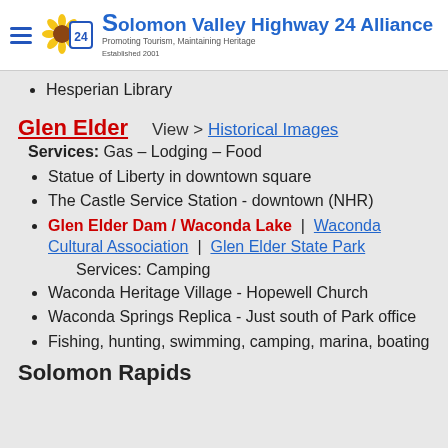Solomon Valley Highway 24 Alliance — Promoting Tourism, Maintaining Heritage — Established 2001
Hesperian Library
Glen Elder
View > Historical Images
Services: Gas – Lodging – Food
Statue of Liberty in downtown square
The Castle Service Station - downtown (NHR)
Glen Elder Dam / Waconda Lake | Waconda Cultural Association | Glen Elder State Park
Services: Camping
Waconda Heritage Village - Hopewell Church
Waconda Springs Replica - Just south of Park office
Fishing, hunting, swimming, camping, marina, boating
Solomon Rapids